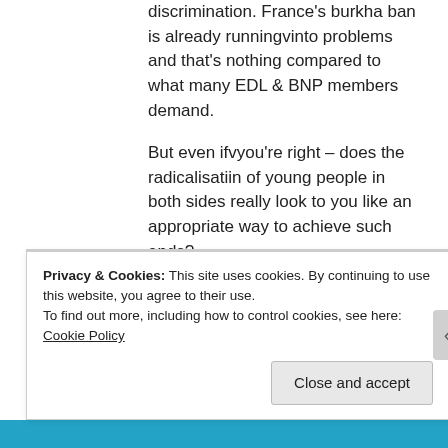discrimination. France's burkha ban is already runningvinto problems and that's nothing compared to what many EDL & BNP members demand.
But even ifvyou're right – does the radicalisatiin of young people in both sides really look to you like an appropriate way to achieve such ends?
★ Like
👍 0 👎 3 ℹ Rate This
↪ Reply
Privacy & Cookies: This site uses cookies. By continuing to use this website, you agree to their use. To find out more, including how to control cookies, see here: Cookie Policy
Close and accept